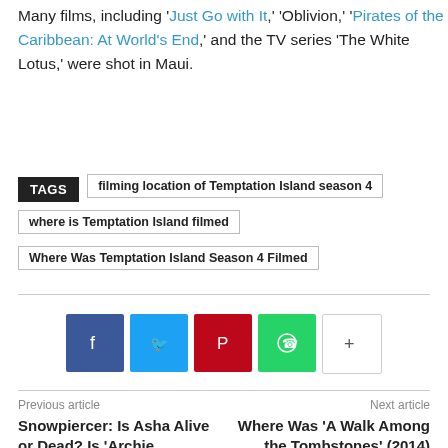Many films, including 'Just Go with It,' 'Oblivion,' 'Pirates of the Caribbean: At World's End,' and the TV series 'The White Lotus,' were shot in Maui.
TAGS  filming location of Temptation Island season 4  where is Temptation Island filmed  Where Was Temptation Island Season 4 Filmed
[Figure (infographic): Social sharing buttons: Facebook (blue), Twitter (light blue), Pinterest (red), WhatsApp (green), More (+) (white/grey)]
Previous article
Next article
Snowpiercer: Is Asha Alive or Dead? Is 'Archie Panjabi' Leaving the Show?
Where Was 'A Walk Among the Tombstones' (2014) Movie Filmed?